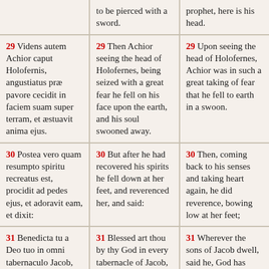to be pierced with a sword.
prophet, here is his head.
29 Videns autem Achior caput Holofernis, angustiatus præ pavore cecidit in faciem suam super terram, et æstuavit anima ejus.
29 Then Achior seeing the head of Holofernes, being seized with a great fear he fell on his face upon the earth, and his soul swooned away.
29 Upon seeing the head of Holofernes, Achior was in such a great taking of fear that he fell to earth in a swoon.
30 Postea vero quam resumpto spiritu recreatus est, procidit ad pedes ejus, et adoravit eam, et dixit:
30 But after he had recovered his spirits he fell down at her feet, and reverenced her, and said:
30 Then, coming back to his senses and taking heart again, he did reverence, bowing low at her feet;
31 Benedicta tu a Deo tuo in omni tabernaculo Jacob, quoniam in omni
31 Blessed art thou by thy God in every tabernacle of Jacob, for in every nation
31 Wherever the sons of Jacob dwell, said he, God has made thy name a